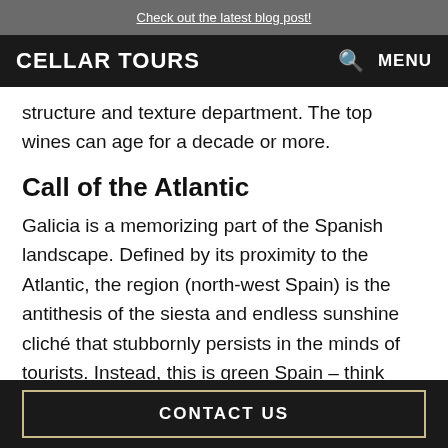Check out the latest blog post!
CELLAR TOURS   🔍   MENU
structure and texture department. The top wines can age for a decade or more.
Call of the Atlantic
Galicia is a memorizing part of the Spanish landscape. Defined by its proximity to the Atlantic, the region (north-west Spain) is the antithesis of the siesta and endless sunshine cliché that stubbornly persists in the minds of tourists. Instead, this is green Spain – think verdant scenery, a great deal of rainfall, and delectable wines. Today, there are several important wine zones located throughout the province, although few can rival the reputation – and
CONTACT US